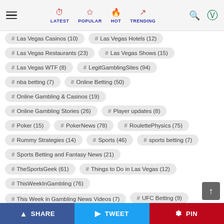LATEST | POPULAR | HOT | TRENDING
# Las Vegas Casinos (10)
# Las Vegas Hotels (12)
# Las Vegas Restaurants (23)
# Las Vegas Shows (15)
# Las Vegas WTF (8)
# LegitGamblingSites (94)
# nba betting (7)
# Online Betting (50)
# Online Gambling & Casinos (19)
# Online Gambling Stories (26)
# Player updates (8)
# Poker (15)
# PokerNews (78)
# RoulettePhysics (75)
# Rummy Strategies (14)
# Sports (46)
# sports betting (7)
# Sports Betting and Fantasy News (21)
# TheSportsGeek (61)
# Things to Do in Las Vegas (12)
# ThisWeekInGambling (76)
# This Week in Gambling News Videos (7)
# UFC Betting (9)
# VitalVegas.com (76)
# Whats New (10)
SHARE | TWEET | PIN